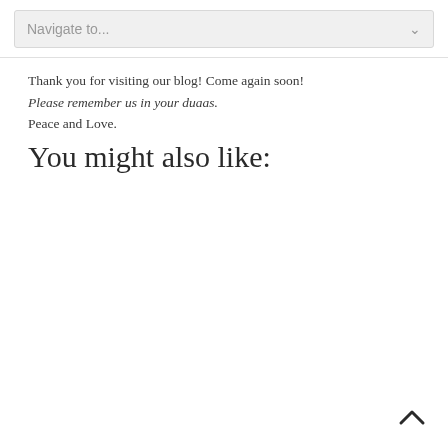Navigate to...
Thank you for visiting our blog! Come again soon!
Please remember us in your duaas.
Peace and Love.
You might also like: